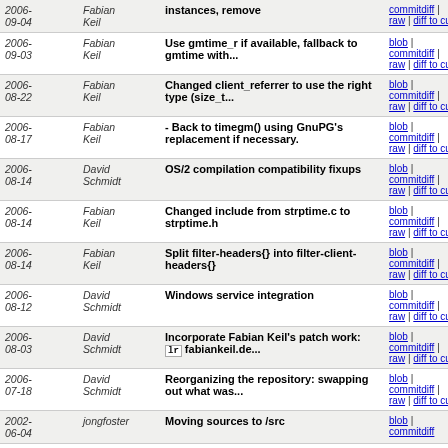| Date | Author | Message | Links |
| --- | --- | --- | --- |
| 2006-09-04 | Fabian Keil | instances, remove | blob | commitdiff | raw | diff to current |
| 2006-09-03 | Fabian Keil | Use gmtime_r if available, fallback to gmtime with... | blob | commitdiff | raw | diff to current |
| 2006-08-22 | Fabian Keil | Changed client_referrer to use the right type (size_t... | blob | commitdiff | raw | diff to current |
| 2006-08-17 | Fabian Keil | - Back to timegm() using GnuPG's replacement if necessary. | blob | commitdiff | raw | diff to current |
| 2006-08-14 | David Schmidt | OS/2 compilation compatibility fixups | blob | commitdiff | raw | diff to current |
| 2006-08-14 | Fabian Keil | Changed include from strptime.c to strptime.h | blob | commitdiff | raw | diff to current |
| 2006-08-14 | Fabian Keil | Split filter-headers{} into filter-client-headers{} | blob | commitdiff | raw | diff to current |
| 2006-08-12 | David Schmidt | Windows service integration | blob | commitdiff | raw | diff to current |
| 2006-08-03 | David Schmidt | Incorporate Fabian Keil's patch work: lr fabiankeil.de... | blob | commitdiff | raw | diff to current |
| 2006-07-18 | David Schmidt | Reorganizing the repository: swapping out what was... | blob | commitdiff | raw | diff to current |
| 2002-06-04 | jongfoster | Moving sources to /src | blob | commitdiff |